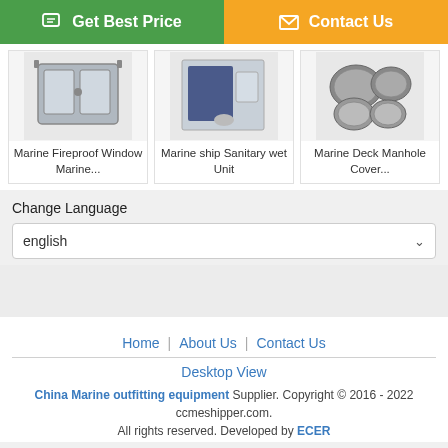[Figure (screenshot): Get Best Price button (green) and Contact Us button (orange) at the top]
[Figure (photo): Marine Fireproof Window Marine product thumbnail]
Marine Fireproof Window Marine...
[Figure (photo): Marine ship Sanitary wet Unit product thumbnail]
Marine ship Sanitary wet Unit
[Figure (photo): Marine Deck Manhole Cover product thumbnail]
Marine Deck Manhole Cover...
Change Language
english
Home | About Us | Contact Us
Desktop View
China Marine outfitting equipment Supplier. Copyright © 2016 - 2022 ccmeshipper.com. All rights reserved. Developed by ECER
[Figure (screenshot): Chat Now button and Request A Quote button at the bottom]